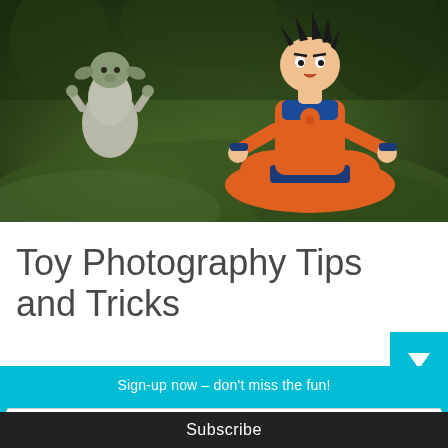[Figure (photo): Photo of two toy action figures (Yoda from Star Wars and Goku from Dragon Ball Z) in a meditation pose on mossy green rocks in a natural outdoor setting]
Toy Photography Tips and Tricks
Sign-up now - don't miss the fun!
Your email address..
Subscribe